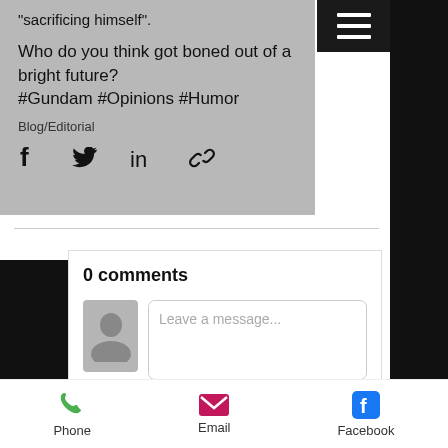"sacrificing himself".
Who do you think got boned out of a bright future?
#Gundam #Opinions #Humor

Blog/Editorial
[Figure (screenshot): Social share icons: Facebook (f), Twitter bird, LinkedIn (in), link/chain icon]
0 comments
[Figure (screenshot): Comment input area with avatar placeholder and 'Leave a message...' text field]
Phone    Email    Facebook